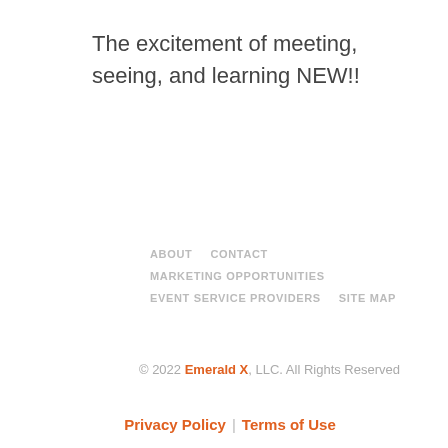The excitement of meeting, seeing, and learning NEW!!
ABOUT    CONTACT
MARKETING OPPORTUNITIES
EVENT SERVICE PROVIDERS    SITE MAP
© 2022 Emerald X, LLC. All Rights Reserved
Privacy Policy | Terms of Use